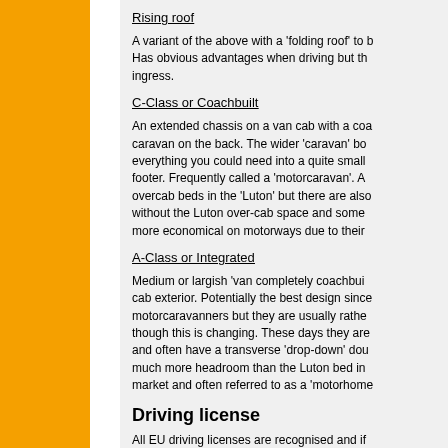Rising roof
A variant of the above with a 'folding roof' to b... Has obvious advantages when driving but th... ingress.
C-Class or Coachbuilt
An extended chassis on a van cab with a coa... caravan on the back. The wider 'caravan' bo... everything you could need into a quite small ... footer. Frequently called a 'motorcaravan'. Al... overcab beds in the 'Luton' but there are also... without the Luton over-cab space and somet... more economical on motorways due to their ...
A-Class or Integrated
Medium or largish 'van completely coachbui... cab exterior. Potentially the best design sinc... motorcaravanners but they are usually rathe... though this is changing. These days they are... and often have a transverse 'drop-down' do... much more headroom than the Luton bed in... market and often referred to as a 'motorhome...
Driving license
All EU driving licenses are recognised and if... an international driving licence.